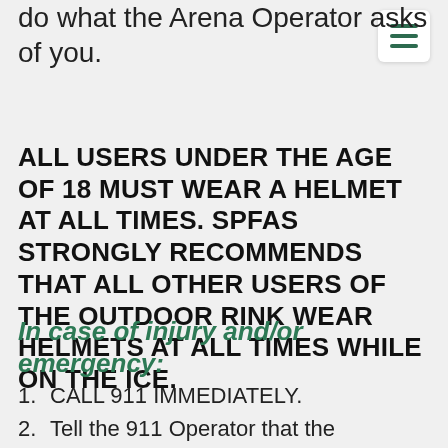do what the Arena Operator asks of you.
ALL USERS UNDER THE AGE OF 18 MUST WEAR A HELMET AT ALL TIMES. SPFAS STRONGLY RECOMMENDS THAT ALL OTHER USERS OF THE OUTDOOR RINK WEAR HELMETS AT ALL TIMES WHILE ON THE ICE.
In case of injury and/or emergency:
1. CALL 911 IMMEDIATELY.
2. Tell the 911 Operator that the Outdoor Rink is located at 2223 Al...